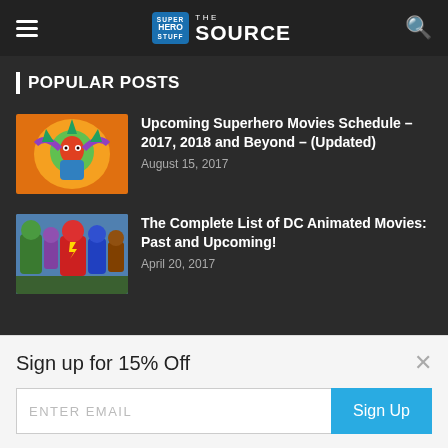Super Hero Stuff – THE SOURCE
POPULAR POSTS
[Figure (illustration): Colorful superhero illustration with orange and green tones]
Upcoming Superhero Movies Schedule – 2017, 2018 and Beyond – (Updated)
August 15, 2017
[Figure (illustration): DC superhero comic art featuring The Flash and other characters in red and blue]
The Complete List of DC Animated Movies: Past and Upcoming!
April 20, 2017
Sign up for 15% Off
ENTER EMAIL